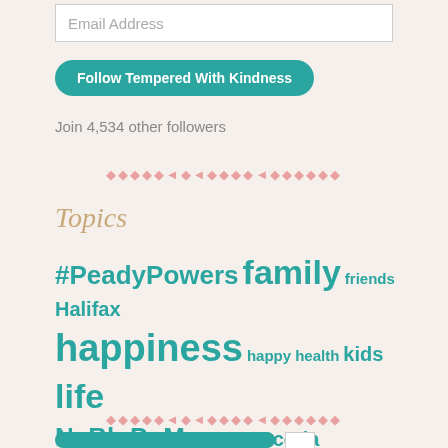Email Address
Follow Tempered With Kindness
Join 4,534 other followers
[Figure (other): Decorative diamond divider pattern in pink]
Topics
#PeadyPowers family friends Halifax happiness happy health kids life NaBloPoMo Nova Scotia Peady Powers Thing 2 Things writing
[Figure (other): Decorative diamond divider pattern in pink]